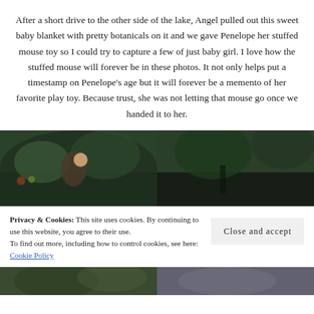After a short drive to the other side of the lake, Angel pulled out this sweet baby blanket with pretty botanicals on it and we gave Penelope her stuffed mouse toy so I could try to capture a few of just baby girl. I love how the stuffed mouse will forever be in these photos. It not only helps put a timestamp on Penelope's age but it will forever be a memento of her favorite play toy. Because trust, she was not letting that mouse go once we handed it to her.
[Figure (photo): Two side-by-side outdoor photos: left shows an adult holding a baby among garden flowers and greenery; right shows a darker outdoor scene with trees.]
Privacy & Cookies: This site uses cookies. By continuing to use this website, you agree to their use. To find out more, including how to control cookies, see here: Cookie Policy
[Figure (photo): Two side-by-side photos at the bottom of the page showing outdoor scenes with people.]